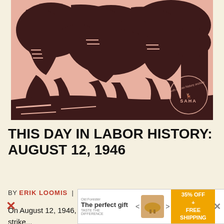[Figure (illustration): Woodcut-style print in pink/dark brown showing South African mineworkers. The image features bold linework in a linocut style with a SAHA (South African History Archive) watermark stamp in the lower right corner. Workers are depicted in dynamic poses suggesting labor or struggle.]
THIS DAY IN LABOR HISTORY: AUGUST 12, 1946
BY ERIK LOOMIS  |  ON AUGUST 12, 2019
On August 12, 1946, South African mineworkers went on strike...